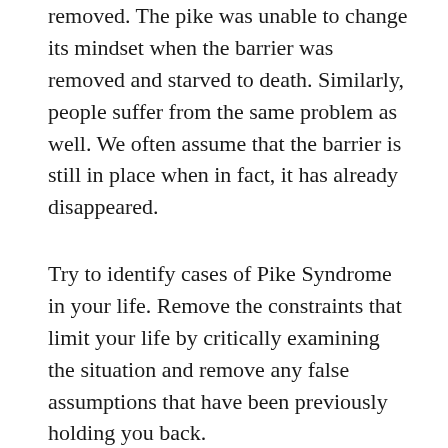removed. The pike was unable to change its mindset when the barrier was removed and starved to death. Similarly, people suffer from the same problem as well. We often assume that the barrier is still in place when in fact, it has already disappeared.
Try to identify cases of Pike Syndrome in your life. Remove the constraints that limit your life by critically examining the situation and remove any false assumptions that have been previously holding you back.
“Failure” – A Matter of Perspective
Privacy & Cookies: This site uses cookies. By continuing to use this website, you agree to their use.
To find out more, including how to control cookies, see here: Cookie Policy
world,” or as proof of just how inadequate we are. Or, we